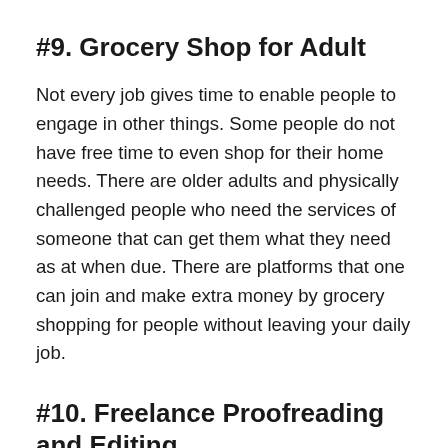#9. Grocery Shop for Adult
Not every job gives time to enable people to engage in other things. Some people do not have free time to even shop for their home needs. There are older adults and physically challenged people who need the services of someone that can get them what they need as at when due. There are platforms that one can join and make extra money by grocery shopping for people without leaving your daily job.
#10. Freelance Proofreading and Editing